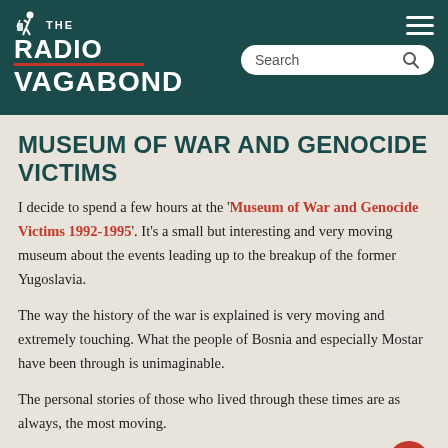[Figure (logo): The Radio Vagabond logo with silhouette traveler figure on dark teal background, with search bar and hamburger menu]
MUSEUM OF WAR AND GENOCIDE VICTIMS
I decide to spend a few hours at the 'Museum of War and Genocide Victims 1992-1995'. It's a small but interesting and very moving museum about the events leading up to the breakup of the former Yugoslavia.
The way the history of the war is explained is very moving and extremely touching. What the people of Bosnia and especially Mostar have been through is unimaginable.
The personal stories of those who lived through these times are as always, the most moving.
It's an important part of the history of Bosnia Herzegovina and